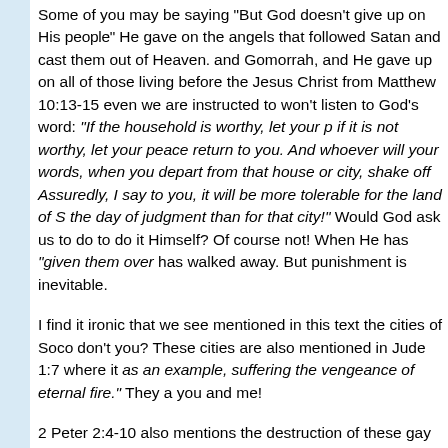Some of you may be saying "But God doesn't give up on His people" He gave up on the angels that followed Satan and cast them out of Heaven. He gave up on Sodom and Gomorrah, and He gave up on all of those living before the flood. Through Jesus Christ from Matthew 10:13-15 even we are instructed to give up on those who won't listen to God's word: "If the household is worthy, let your peace come upon it; if it is not worthy, let your peace return to you. And whoever will not receive your words, when you depart from that house or city, shake off the dust from your feet. Assuredly, I say to you, it will be more tolerable for the land of Sodom and Gomorrah in the day of judgment than for that city!" Would God ask us to do something He refuses to do it Himself? Of course not! When He has "given them over" He has walked away. But punishment is inevitable.
I find it ironic that we see mentioned in this text the cities of Sodom and Gomorrah, don't you? These cities are also mentioned in Jude 1:7 where it says they are "set forth as an example, suffering the vengeance of eternal fire." They are an example to you and me!
2 Peter 2:4-10 also mentions the destruction of these gay cities to affirm the inevitable punishment of homosexuality, when it says "and turning the cities of Sodom and Gomorrah into ashes, condemned them to destruction, making them an example to those who afterward would live ungodly; … then the Lord knows how to deliver the godly out of temptations and to reserve the unjust under punishment"